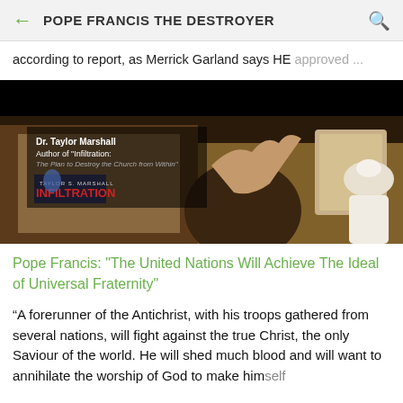POPE FRANCIS THE DESTROYER
according to report, as Merrick Garland says HE approved ...
[Figure (screenshot): Video thumbnail showing a man with hand raised to forehead, overlay text reading 'Dr. Taylor Marshall Author of "Infiltration: The Plan to Destroy the Church from Within"' with a book cover showing 'INFILTRATION', and a figure in white papal vestments visible on the right side. Background is dark.]
Pope Francis: "The United Nations Will Achieve The Ideal of Universal Fraternity"
“A forerunner of the Antichrist, with his troops gathered from several nations, will fight against the true Christ, the only Saviour of the world. He will shed much blood and will want to annihilate the worship of God to make himself...